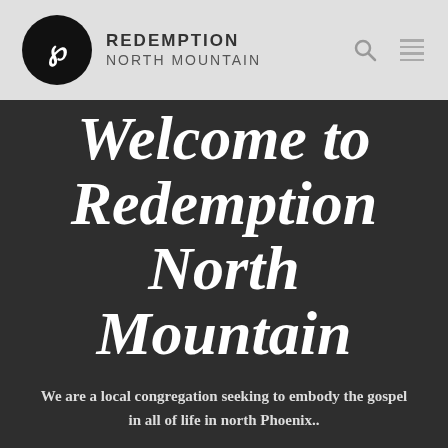[Figure (logo): Redemption North Mountain church logo — black circle with white stylized R, text REDEMPTION NORTH MOUNTAIN to the right, search icon and hamburger menu icon on the far right, on a light grey header background]
Welcome to Redemption North Mountain
We are a local congregation seeking to embody the gospel in all of life in north Phoenix..